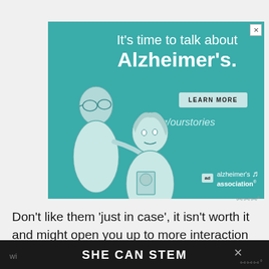[Figure (illustration): Alzheimer's Association advertisement on teal background with illustrated elderly man and younger woman. Text reads: It's time to talk about Alzheimer's. LEARN MORE. alz.org/ourstories. Alzheimer's association logo.]
Don't like them 'just in case', it isn't worth it and might open you up to more interaction
wi  SHE CAN STEM  ×